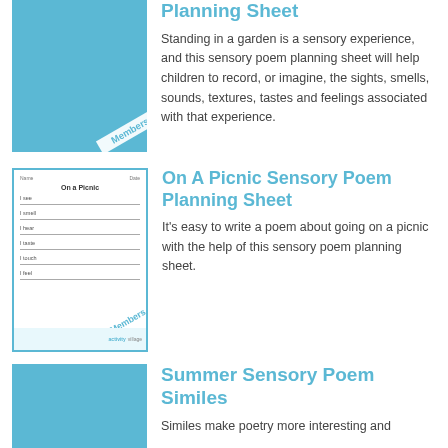[Figure (illustration): Blue square thumbnail with a 'Members' diagonal badge watermark]
Planning Sheet
Standing in a garden is a sensory experience, and this sensory poem planning sheet will help children to record, or imagine, the sights, smells, sounds, textures, tastes and feelings associated with that experience.
[Figure (illustration): Worksheet thumbnail showing 'On a Picnic' sensory poem planning sheet with lines for I see, I smell, I hear, I taste, I touch, I feel, with a Members watermark]
On A Picnic Sensory Poem Planning Sheet
It's easy to write a poem about going on a picnic with the help of this sensory poem planning sheet.
[Figure (illustration): Blue square thumbnail]
Summer Sensory Poem Similes
Similes make poetry more interesting and